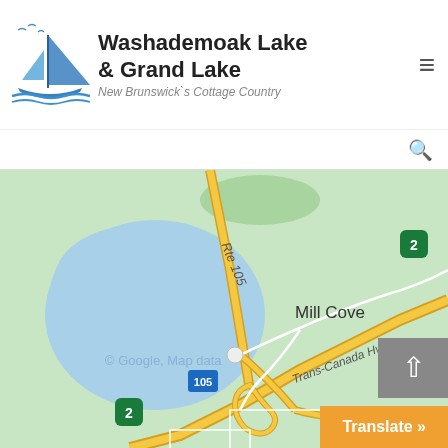[Figure (logo): Sailboat logo with waves for Washademoak Lake & Grand Lake]
Washademoak Lake & Grand Lake
New Brunswick`s Cottage Country
[Figure (map): Google Maps screenshot showing Mill Cove area near Washademoak Lake, with Route 105, Trans-Canada Hwy, and highway marker 2 visible]
Translate »